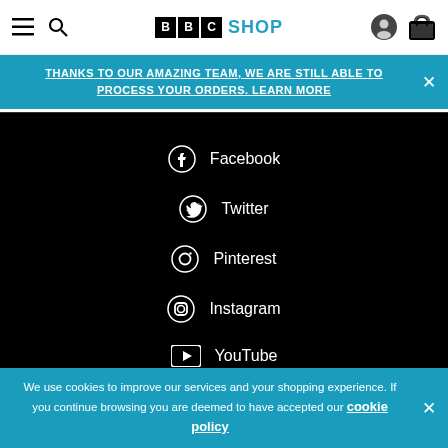BBC SHOP — navigation header with hamburger menu, search, account, and basket icons
THANKS TO OUR AMAZING TEAM, WE ARE STILL ABLE TO PROCESS YOUR ORDERS. LEARN MORE
Facebook
Twitter
Pinterest
Instagram
YouTube
Subscribe today and save 10% on
We use cookies to improve our services and your shopping experience. If you continue browsing you are deemed to have accepted our cookie policy